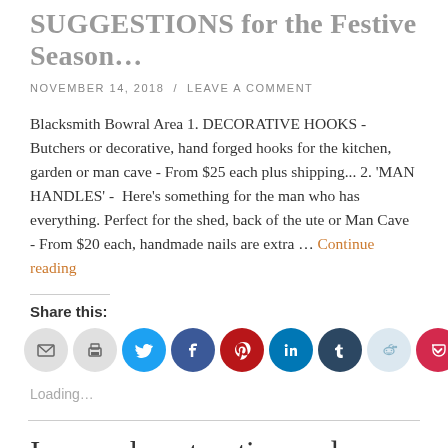SUGGESTIONS for the Festive Season…
NOVEMBER 14, 2018  /  LEAVE A COMMENT
Blacksmith Bowral Area 1. DECORATIVE HOOKS - Butchers or decorative, hand forged hooks for the kitchen, garden or man cave - From $25 each plus shipping... 2. 'MAN HANDLES' -  Here's something for the man who has everything. Perfect for the shed, back of the ute or Man Cave - From $20 each, handmade nails are extra … Continue reading
Share this:
[Figure (infographic): Row of social sharing icon buttons: email (grey), print (grey), Twitter (light blue), Facebook (dark blue), Pinterest (red), LinkedIn (blue), Tumblr (dark blue), Reddit (light blue), Pocket (pink/red)]
Loading…
Ironwork restoration and replicating the